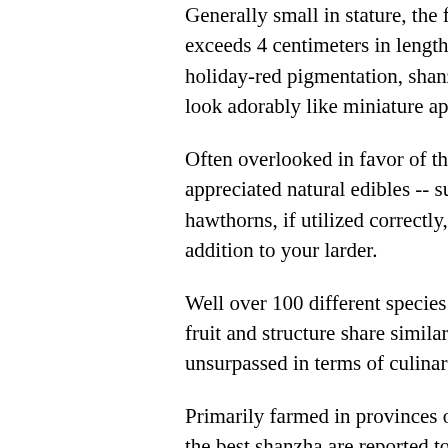Generally small in stature, the fruit of the exceeds 4 centimeters in length and 3 ce holiday-red pigmentation, shanzha, as th look adorably like miniature apples.
Often overlooked in favor of the winter m appreciated natural edibles -- such as m hawthorns, if utilized correctly, provide a addition to your larder.
Well over 100 different species of hawthe fruit and structure share similarities, the unsurpassed in terms of culinary usage.
Primarily farmed in provinces of Shando the best shanzha are reported to come f Understandably, fresh hawthorn is consu northern China than anywhere else, alth can be found throughout China and in Ch
The most familiar of shanzha preparatio simply fresh hawthorn coated in sugar sy hardball stage and left to cool on bambo
Utter deliciousness that begins with the cracking under your teeth and yielding to